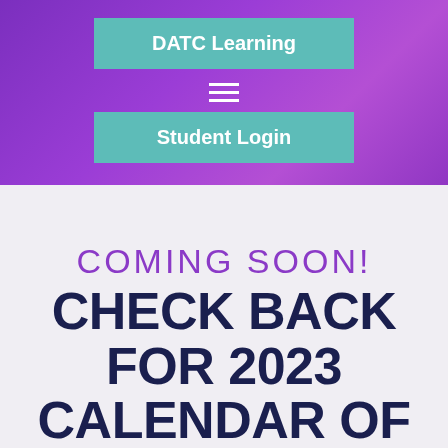DATC Learning
[Figure (other): Hamburger menu icon (three horizontal white lines) on purple background]
Student Login
SUBMIT
COMING SOON!
CHECK BACK FOR 2023 CALENDAR OF